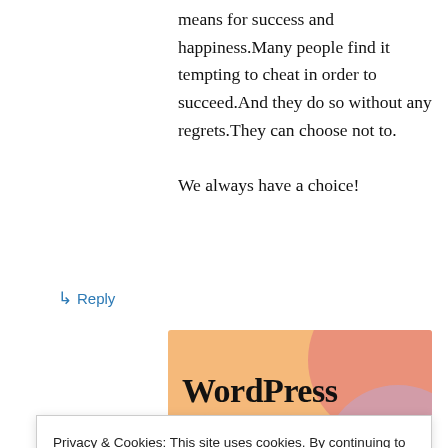means for success and happiness.Many people find it tempting to cheat in order to succeed.And they do so without any regrets.They can choose not to.
We always have a choice!
↳ Reply
[Figure (illustration): WordPress advertisement banner with orange and pink gradient background, text reads 'WordPress in the back.']
Privacy & Cookies: This site uses cookies. By continuing to use this website, you agree to their use.
To find out more, including how to control cookies, see here: Cookie Policy
Close and accept